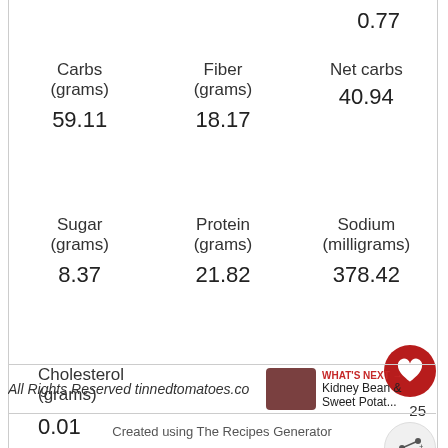0.77
| Carbs (grams) | Fiber (grams) | Net carbs |
| --- | --- | --- |
| 59.11 | 18.17 | 40.94 |
| Sugar (grams) | Protein (grams) | Sodium (milligrams) |
| --- | --- | --- |
| 8.37 | 21.82 | 378.42 |
| Cholesterol (grams) |
| --- |
| 0.01 |
All Rights Reserved tinnedtomatoes.co
Created using The Recipes Generator